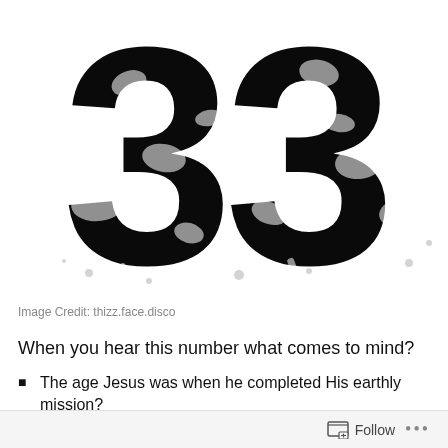[Figure (illustration): Large bold black number '33' with a textured, splattered ink style on a white background]
Image Credit: thizz.face.disco
When you hear this number what comes to mind?
The age Jesus was when he completed His earthly mission?
The RPM's of classic vinyl records?  Actually, 33 1/3, but it's close.